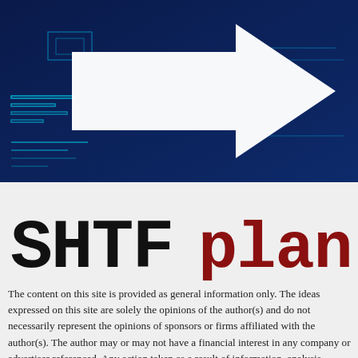[Figure (illustration): Dark blue background with circuit-board style glowing cyan lines and a large white right-pointing arrow in the center]
[Figure (logo): SHTFplan logo — 'SHTF' in heavy distressed black block letters, 'plan' in dark red serif letters]
The content on this site is provided as general information only. The ideas expressed on this site are solely the opinions of the author(s) and do not necessarily represent the opinions of sponsors or firms affiliated with the author(s). The author may or may not have a financial interest in any company or advertiser referenced. Any action taken as a result of information, analysis,